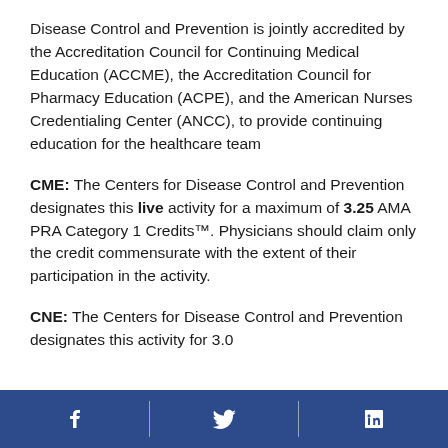Disease Control and Prevention is jointly accredited by the Accreditation Council for Continuing Medical Education (ACCME), the Accreditation Council for Pharmacy Education (ACPE), and the American Nurses Credentialing Center (ANCC), to provide continuing education for the healthcare team
CME: The Centers for Disease Control and Prevention designates this live activity for a maximum of 3.25 AMA PRA Category 1 Credits™. Physicians should claim only the credit commensurate with the extent of their participation in the activity.
CNE: The Centers for Disease Control and Prevention designates this activity for 3.0...
Social media icons: Facebook, Twitter, LinkedIn